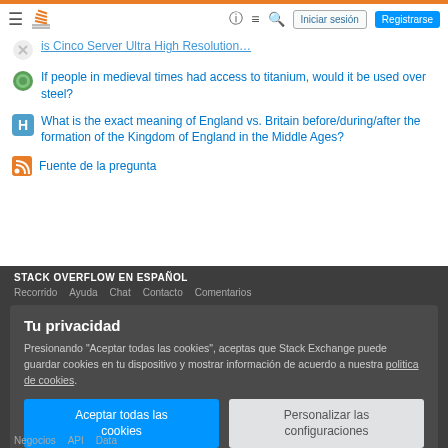Stack Overflow en Español — navigation bar with Iniciar sesión and Registrarse buttons
Is Cinco Server Ultra High Resolution…
If people in medieval times had access to titanium, would it be used over steel?
What is the exact meaning of England vs. Britain before/during/after the formation of the Kingdom of England in the Middle Ages?
Fuente de la pregunta
STACK OVERFLOW EN ESPAÑOL
Recorrido  Ayuda  Chat  Contacto  Comentarios
Tu privacidad
Presionando "Aceptar todas las cookies", aceptas que Stack Exchange puede guardar cookies en tu dispositivo y mostrar información de acuerdo a nuestra politica de cookies.
Aceptar todas las cookies
Personalizar las configuraciones
Negocios  API  Data